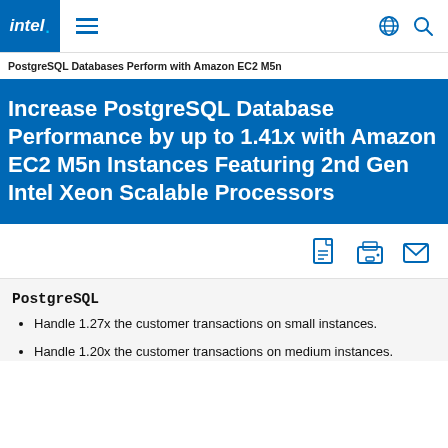Intel navigation bar with logo, menu, globe, and search icons
PostgreSQL Databases Perform with Amazon EC2 M5n
Increase PostgreSQL Database Performance by up to 1.41x with Amazon EC2 M5n Instances Featuring 2nd Gen Intel Xeon Scalable Processors
[Figure (infographic): Three icons: PDF document, printer, and envelope/email, arranged horizontally in blue color on white background]
PostgreSQL
Handle 1.27x the customer transactions on small instances.
Handle 1.20x the customer transactions on medium instances.